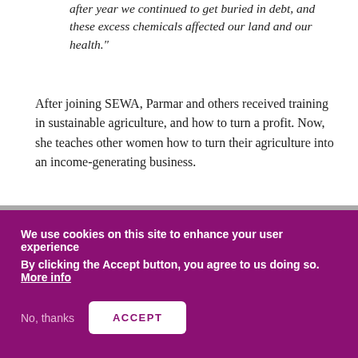after year we continued to get buried in debt, and these excess chemicals affected our land and our health."
After joining SEWA, Parmar and others received training in sustainable agriculture, and how to turn a profit. Now, she teaches other women how to turn their agriculture into an income-generating business.
We use cookies on this site to enhance your user experience
By clicking the Accept button, you agree to us doing so. More info

No, thanks   ACCEPT